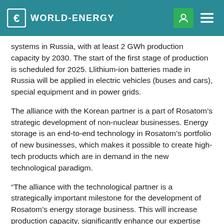WORLD-ENERGY
systems in Russia, with at least 2 GWh production capacity by 2030. The start of the first stage of production is scheduled for 2025. Llithium-ion batteries made in Russia will be applied in electric vehicles (buses and cars), special equipment and in power grids.
The alliance with the Korean partner is a part of Rosatom’s strategic development of non-nuclear businesses. Energy storage is an end-to-end technology in Rosatom’s portfolio of new businesses, which makes it possible to create high-tech products which are in demand in the new technological paradigm.
“The alliance with the technological partner is a strategically important milestone for the development of Rosatom’s energy storage business. This will increase production capacity, significantly enhance our expertise and improve the conditions additionally in the new technological